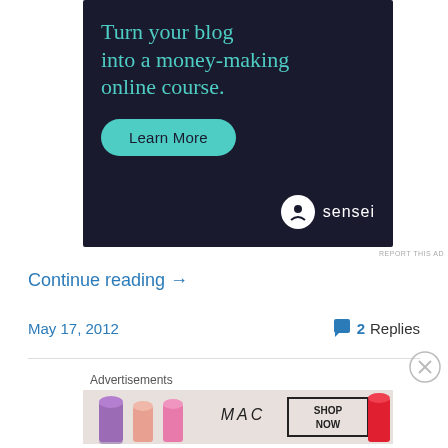[Figure (infographic): Dark background advertisement banner for Sensei with teal headline text 'Turn your blog into a money-making online course.' and a teal Learn More button, with Sensei logo bottom right.]
REPORT THIS AD
Continue reading →
May 17, 2012
2 Replies
Advertisements
[Figure (photo): MAC cosmetics advertisement showing colourful lipsticks with MAC logo and SHOP NOW button]